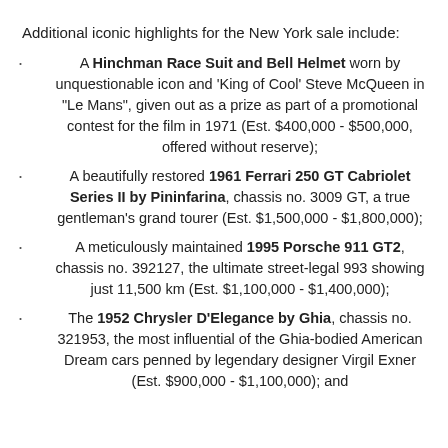Additional iconic highlights for the New York sale include:
A Hinchman Race Suit and Bell Helmet worn by unquestionable icon and ‘King of Cool’ Steve McQueen in “Le Mans”, given out as a prize as part of a promotional contest for the film in 1971 (Est. $400,000 - $500,000, offered without reserve);
A beautifully restored 1961 Ferrari 250 GT Cabriolet Series II by Pininfarina, chassis no. 3009 GT, a true gentleman’s grand tourer (Est. $1,500,000 - $1,800,000);
A meticulously maintained 1995 Porsche 911 GT2, chassis no. 392127, the ultimate street-legal 993 showing just 11,500 km (Est. $1,100,000 - $1,400,000);
The 1952 Chrysler D’Elegance by Ghia, chassis no. 321953, the most influential of the Ghia-bodied American Dream cars penned by legendary designer Virgil Exner (Est. $900,000 - $1,100,000); and